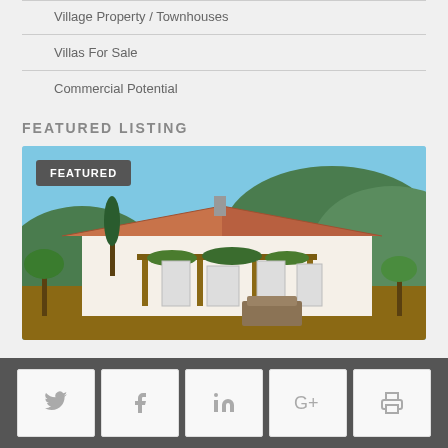Village Property / Townhouses
Villas For Sale
Commercial Potential
FEATURED LISTING
[Figure (photo): Exterior photo of a Spanish/Mediterranean villa with terracotta roof tiles, white walls, a pergola covered in climbing plants, outdoor seating area, palm trees, and hills in the background. A 'FEATURED' badge appears in the top-left corner of the image.]
Social share buttons: Twitter, Facebook, LinkedIn, Google+, Print